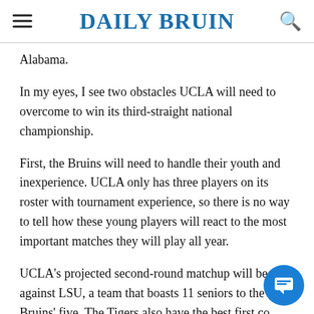DAILY BRUIN
Alabama.
In my eyes, I see two obstacles UCLA will need to overcome to win its third-straight national championship.
First, the Bruins will need to handle their youth and inexperience. UCLA only has three players on its roster with tournament experience, so there is no way to tell how these young players will react to the most important matches they will play all year.
UCLA's projected second-round matchup will be against LSU, a team that boasts 11 seniors to the Bruins' five. The Tigers also have the best first co… college beach volleyball. Seniors Kristen Nuss and